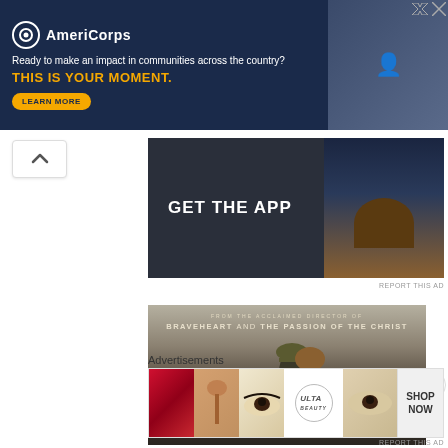[Figure (screenshot): AmeriCorps banner ad: dark blue background with white and orange text 'Ready to make an impact in communities across the country? THIS IS YOUR MOMENT.' with a yellow LEARN MORE button and a photo of people using computers on the right.]
[Figure (screenshot): GET THE APP advertisement banner with dark background and a scenic image of a lone tree by water on the right side.]
REPORT THIS AD
[Figure (photo): Movie poster for Hacksaw Ridge - 'From the acclaimed director of Braveheart and The Passion of the Christ' - showing two WWII soldiers, one carrying another on his back, wearing helmets with a red cross visible at bottom.]
Advertisements
[Figure (screenshot): Ulta Beauty advertisement strip showing beauty product images: lips with lipstick, makeup brush, eye with makeup, Ulta Beauty logo, eyes close-up, and SHOP NOW button.]
REPORT THIS AD